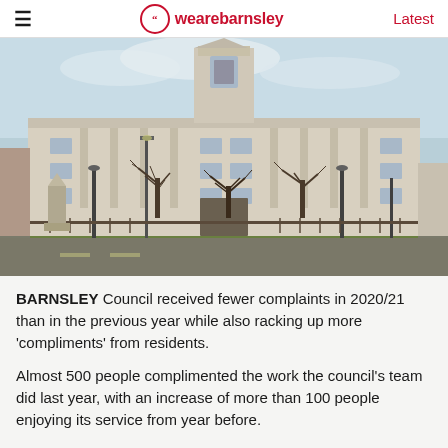wearebarnsley | Latest
[Figure (photo): Exterior photo of Barnsley Town Hall, a large neoclassical stone building with a clock tower, bare winter trees in the foreground and a road in front.]
BARNSLEY Council received fewer complaints in 2020/21 than in the previous year while also racking up more 'compliments' from residents.
Almost 500 people complimented the work the council's team did last year, with an increase of more than 100 people enjoying its service from year before.
A total of 211 customers complained to the council – a decrease of 64 from the previous year's tally of 275.